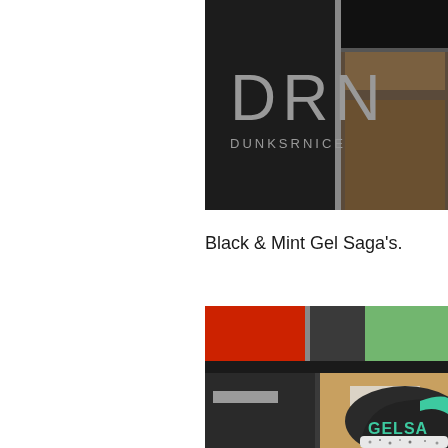[Figure (photo): DRN Dunksrnice logo overlaid on a dark background with cardboard box edges visible]
Black & Mint Gel Saga's.
[Figure (photo): Close-up photo of a black and mint Asics Gel Saga sneaker surrounded by stacked shoeboxes on shelving]